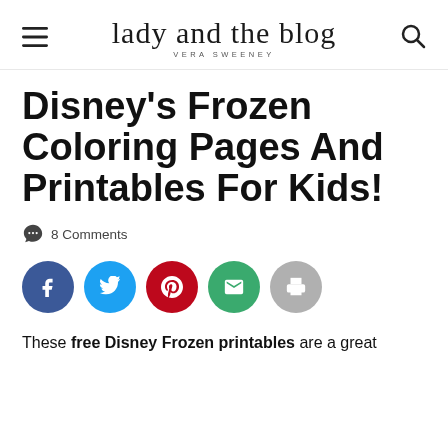lady and the blog — VERA SWEENEY
Disney's Frozen Coloring Pages And Printables For Kids!
8 Comments
[Figure (infographic): Social share buttons: Facebook (dark blue), Twitter (light blue), Pinterest (red), Email (green), Print (gray)]
These free Disney Frozen printables are a great